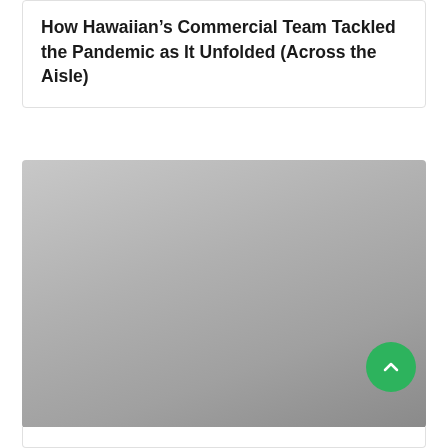How Hawaiian's Commercial Team Tackled the Pandemic as It Unfolded (Across the Aisle)
[Figure (photo): A large grey/silver image placeholder representing a video or photo thumbnail, with a green circular scroll-to-top button in the lower right corner.]